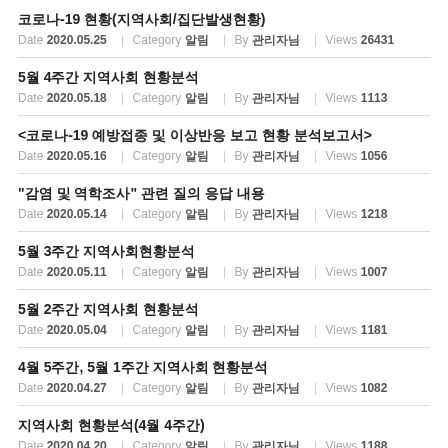코로나-19 현황(지역사회/집단발생현황)
Date 2020.05.25 | Category 알림 | By 관리자님 | Views 26431
5월 4주간 지역사회 현황분석
Date 2020.05.18 | Category 알림 | By 관리자님 | Views 1113
<코로나-19 예방접종 및 이상반응 보고 현황 분석보고서>
Date 2020.05.16 | Category 알림 | By 관리자님 | Views 1056
"감염 및 역학조사" 관련 질의 응답 내용
Date 2020.05.14 | Category 알림 | By 관리자님 | Views 1218
5월 3주간 지역사회현황분석
Date 2020.05.11 | Category 알림 | By 관리자님 | Views 1007
5월 2주간 지역사회 현황분석
Date 2020.05.04 | Category 알림 | By 관리자님 | Views 1181
4월 5주간, 5월 1주간 지역사회 현황분석
Date 2020.04.27 | Category 알림 | By 관리자님 | Views 1082
지역사회 현황분석(4월 4주간)
Date 2020.04.20 | Category 알림 | By 관리자님 | Views 1188